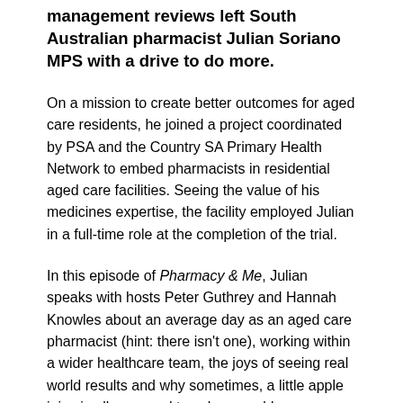management reviews left South Australian pharmacist Julian Soriano MPS with a drive to do more.
On a mission to create better outcomes for aged care residents, he joined a project coordinated by PSA and the Country SA Primary Health Network to embed pharmacists in residential aged care facilities. Seeing the value of his medicines expertise, the facility employed Julian in a full-time role at the completion of the trial.
In this episode of Pharmacy & Me, Julian speaks with hosts Peter Guthrey and Hannah Knowles about an average day as an aged care pharmacist (hint: there isn't one), working within a wider healthcare team, the joys of seeing real world results and why sometimes, a little apple juice is all you need to solve a problem.